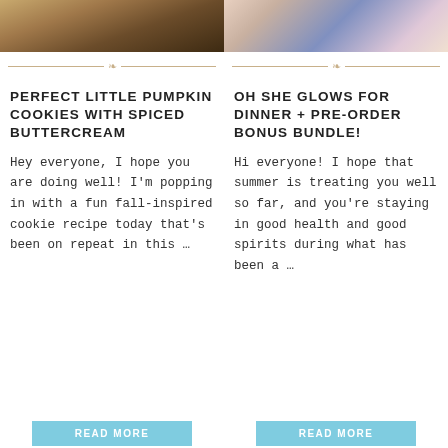[Figure (photo): Photo of pumpkin cookies, warm golden-brown tones]
[Figure (photo): Photo of a person holding a book, floral background]
PERFECT LITTLE PUMPKIN COOKIES WITH SPICED BUTTERCREAM
OH SHE GLOWS FOR DINNER + PRE-ORDER BONUS BUNDLE!
Hey everyone, I hope you are doing well! I'm popping in with a fun fall-inspired cookie recipe today that's been on repeat in this …
Hi everyone! I hope that summer is treating you well so far, and you're staying in good health and good spirits during what has been a …
READ MORE
READ MORE